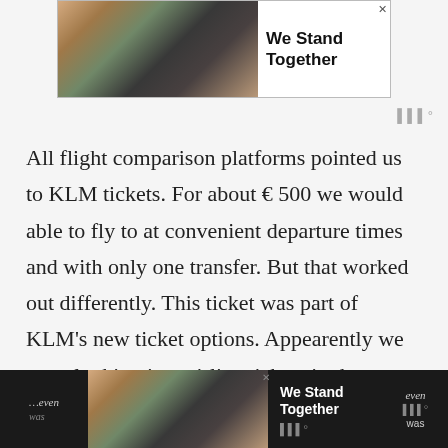[Figure (illustration): Advertisement banner at top showing group of people with arms around each other (backs to camera) and text 'We Stand Together' with close button]
All flight comparison platforms pointed us to KLM tickets. For about € 500 we would able to fly to at convenient departure times and with only one transfer. But that worked out differently. This ticket was part of KLM's new ticket options. Appearently we were looking into airline tickets in the most stripped-down price range of this
[Figure (illustration): Advertisement banner at bottom showing group of people with arms around each other (backs to camera) and text 'We Stand Together' on dark background, with additional text fragments visible on right side]